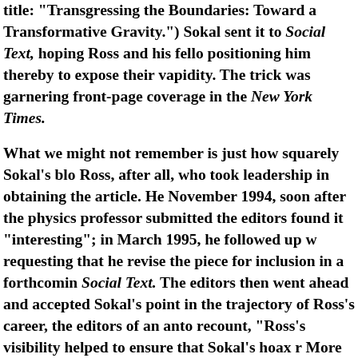title: "Transgressing the Boundaries: Toward a Transformative Gravity.") Sokal sent it to Social Text, hoping Ross and his fellow positioning him thereby to expose their vapidity. The trick was garnering front-page coverage in the New York Times.
What we might not remember is just how squarely Sokal's blow Ross, after all, who took leadership in obtaining the article. He November 1994, soon after the physics professor submitted the editors found it "interesting"; in March 1995, he followed up w requesting that he revise the piece for inclusion in a forthcomin Social Text. The editors then went ahead and accepted Sokal's p point in the trajectory of Ross's career, the editors of an antho recount, "Ross's visibility helped to ensure that Sokal's hoax re More to the point, though, Ross's views on science—as just ano relative to other contested narratives—were just the kind of ba to mock. Here, for example, is Ross's critique of "objectivity" i length meditation on the cultural politics of the Weather Chann world purporting to be ‘natural’ and fundamental is in fact hea particular moral and political beliefs about nature and social b
The Sokal hoax showed, in other words, all the classic signs of a himself described feeling "snakebit" in the wake of the embarra whole thing had been a put-up job. Still, stodgy empirical matt